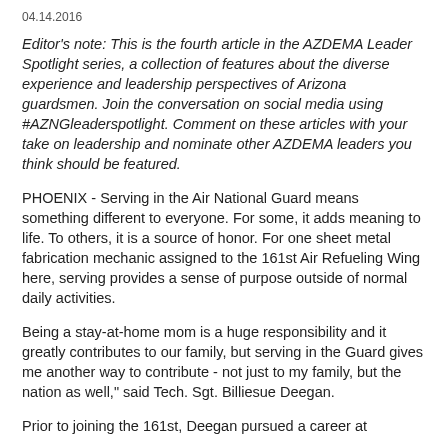04.14.2016
Editor's note: This is the fourth article in the AZDEMA Leader Spotlight series, a collection of features about the diverse experience and leadership perspectives of Arizona guardsmen. Join the conversation on social media using #AZNGleaderspotlight. Comment on these articles with your take on leadership and nominate other AZDEMA leaders you think should be featured.
PHOENIX - Serving in the Air National Guard means something different to everyone. For some, it adds meaning to life. To others, it is a source of honor. For one sheet metal fabrication mechanic assigned to the 161st Air Refueling Wing here, serving provides a sense of purpose outside of normal daily activities.
Being a stay-at-home mom is a huge responsibility and it greatly contributes to our family, but serving in the Guard gives me another way to contribute - not just to my family, but the nation as well," said Tech. Sgt. Billiesue Deegan.
Prior to joining the 161st, Deegan pursued a career at...